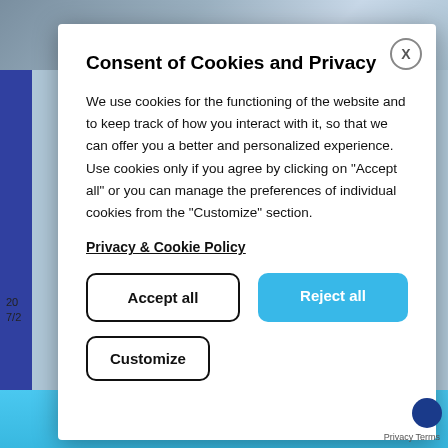[Figure (screenshot): Background webpage screenshot showing a blue-toned product page partially visible behind a cookie consent modal dialog]
Consent of Cookies and Privacy
We use cookies for the functioning of the website and to keep track of how you interact with it, so that we can offer you a better and personalized experience. Use cookies only if you agree by clicking on "Accept all" or you can manage the preferences of individual cookies from the "Customize" section.
Privacy & Cookie Policy
Accept all
Reject all
Customize